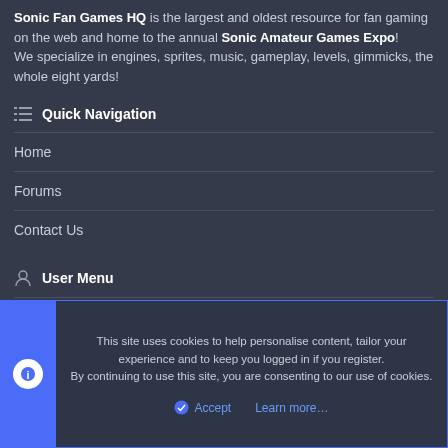Sonic Fan Games HQ is the largest and oldest resource for fan gaming on the web and home to the annual Sonic Amateur Games Expo! We specialize in engines, sprites, music, gameplay, levels, gimmicks, the whole eight yards!
Quick Navigation
Home
Forums
Contact Us
User Menu
Login
This site uses cookies to help personalise content, tailor your experience and to keep you logged in if you register. By continuing to use this site, you are consenting to our use of cookies.